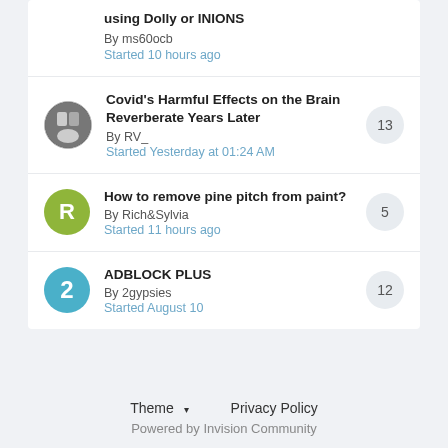using Dolly or INIONS
By ms60ocb
Started 10 hours ago
Covid's Harmful Effects on the Brain Reverberate Years Later
By RV_
Started Yesterday at 01:24 AM
Replies: 13
How to remove pine pitch from paint?
By Rich&Sylvia
Started 11 hours ago
Replies: 5
ADBLOCK PLUS
By 2gypsies
Started August 10
Replies: 12
Theme ▾   Privacy Policy
Powered by Invision Community